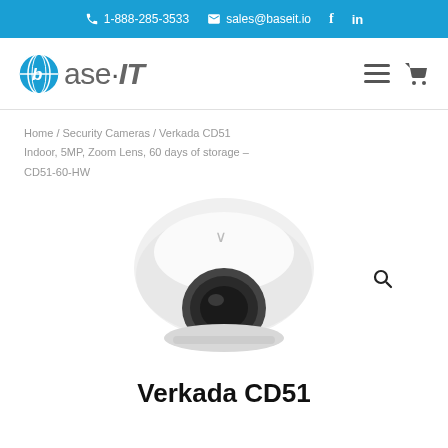1-888-285-3533  sales@baseit.io  f  in
[Figure (logo): Base-IT company logo with globe icon, text 'base·IT', hamburger menu icon and cart icon]
Home / Security Cameras / Verkada CD51 Indoor, 5MP, Zoom Lens, 60 days of storage – CD51-60-HW
[Figure (photo): Verkada CD51 indoor dome security camera, white dome housing with Verkada logo on top, dark lens visible from front, with a magnify/search icon overlay in lower right]
Verkada CD51